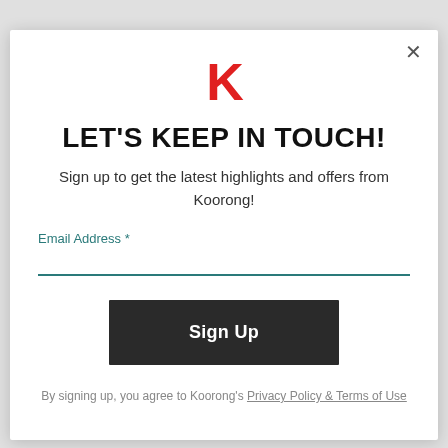[Figure (logo): Red bold letter K logo for Koorong]
LET'S KEEP IN TOUCH!
Sign up to get the latest highlights and offers from Koorong!
Email Address *
Sign Up
By signing up, you agree to Koorong's Privacy Policy & Terms of Use